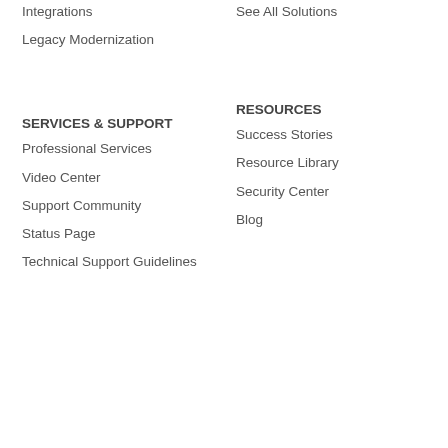Integrations
See All Solutions
Legacy Modernization
SERVICES & SUPPORT
RESOURCES
Professional Services
Success Stories
Video Center
Resource Library
Support Community
Security Center
Status Page
Blog
Technical Support Guidelines
COMPANY
LEGAL
About Us
Terms of Service
Partners
Professional Services Terms
Careers
Privacy Policy
Press
Data Processing Agreement